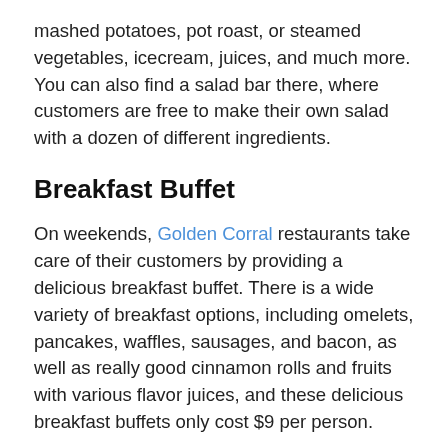mashed potatoes, pot roast, or steamed vegetables, icecream, juices, and much more. You can also find a salad bar there, where customers are free to make their own salad with a dozen of different ingredients.
Breakfast Buffet
On weekends, Golden Corral restaurants take care of their customers by providing a delicious breakfast buffet. There is a wide variety of breakfast options, including omelets, pancakes, waffles, sausages, and bacon, as well as really good cinnamon rolls and fruits with various flavor juices, and these delicious breakfast buffets only cost $9 per person.
Smoked Menu
In 2017, Golden Corral Restaurant added a house of